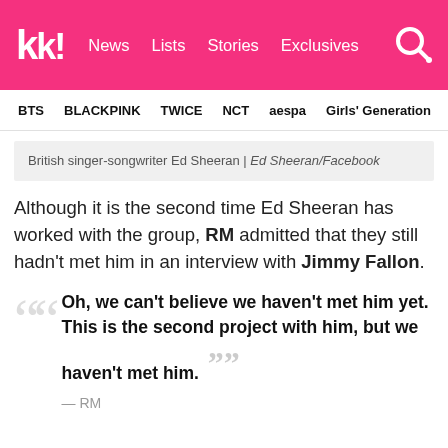kk! News Lists Stories Exclusives
BTS BLACKPINK TWICE NCT aespa Girls' Generation
British singer-songwriter Ed Sheeran | Ed Sheeran/Facebook
Although it is the second time Ed Sheeran has worked with the group, RM admitted that they still hadn't met him in an interview with Jimmy Fallon.
Oh, we can't believe we haven't met him yet. This is the second project with him, but we haven't met him. — RM